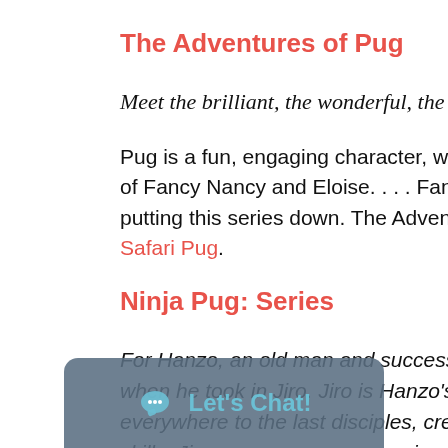The Adventures of Pug
Meet the brilliant, the wonderful, the cou
Pug is a fun, engaging character, while La of Fancy Nancy and Eloise. . . . Fans of do putting this series down. The Adventures Safari Pug.
Ninja Pug: Series
For Hanzo, an old man and successor to when he took in Jiro. Jiro is Hanzo's only everywhere to the last disciples, cre skills, Jiro was in Jiro practices in is gone or asleep, Jiro practices everythin